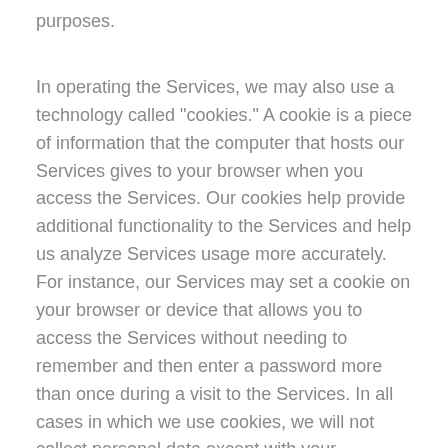purposes.
In operating the Services, we may also use a technology called "cookies." A cookie is a piece of information that the computer that hosts our Services gives to your browser when you access the Services. Our cookies help provide additional functionality to the Services and help us analyze Services usage more accurately. For instance, our Services may set a cookie on your browser or device that allows you to access the Services without needing to remember and then enter a password more than once during a visit to the Services. In all cases in which we use cookies, we will not collect personal data except with your permission. On most web browsers, you will find a "help" section on the toolbar. Please refer to this section for information on how to receive notification when you are receiving a new cookie